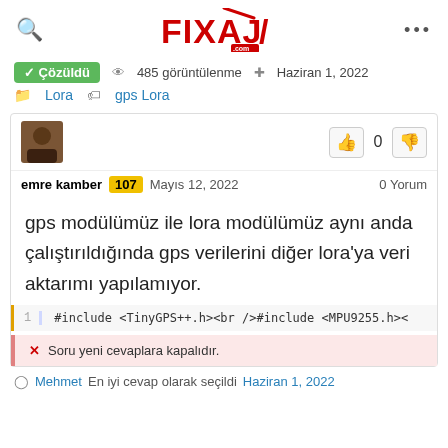FIXAJ.COM
✓ Çözüldü   485 görüntülenme   Haziran 1, 2022
Lora   gps Lora
emre kamber 107  Mayıs 12, 2022   0 Yorum
gps modülümüz ile lora modülümüz aynı anda çalıştırıldığında gps verilerini diğer lora'ya veri aktarımı yapılamıyor.
1  #include <TinyGPS++.h><br />#include <MPU9255.h><
✕ Soru yeni cevaplara kapalıdır.
Mehmet En iyi cevap olarak seçildi Haziran 1, 2022